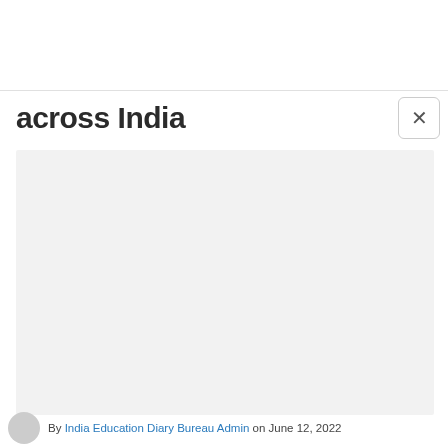across India
[Figure (photo): Light grey placeholder image area for an article image]
By India Education Diary Bureau Admin on June 12, 2022